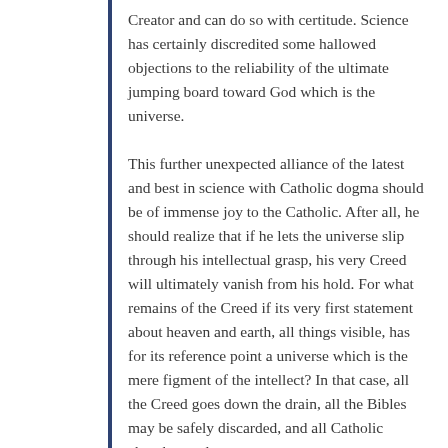Creator and can do so with certitude. Science has certainly discredited some hallowed objections to the reliability of the ultimate jumping board toward God which is the universe.
This further unexpected alliance of the latest and best in science with Catholic dogma should be of immense joy to the Catholic. After all, he should realize that if he lets the universe slip through his intellectual grasp, his very Creed will ultimately vanish from his hold. For what remains of the Creed if its very first statement about heaven and earth, all things visible, has for its reference point a universe which is the mere figment of the intellect? In that case, all the Creed goes down the drain, all the Bibles may be safely discarded, and all Catholic churches and